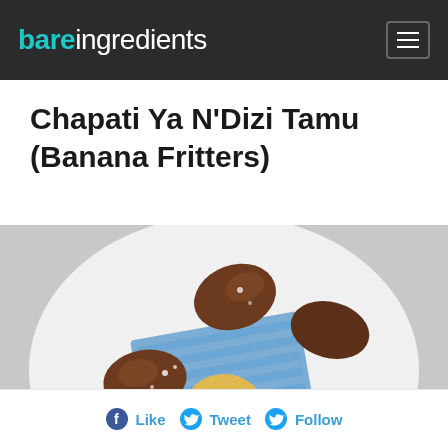bareingredients
Chapati Ya N'Dizi Tamu (Banana Fritters)
[Figure (photo): A white plate with banana fritters dusted with powdered sugar arranged around a scoop of ice cream, placed on a blue patterned napkin.]
Like  Tweet  Follow